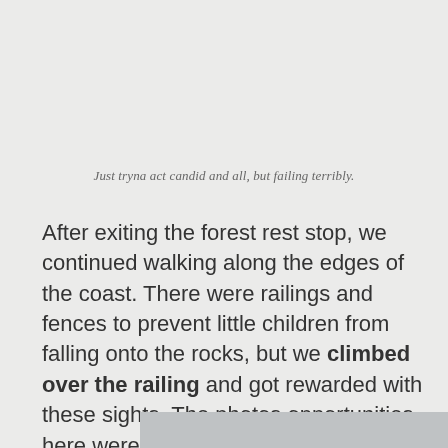Just tryna act candid and all, but failing terribly.
After exiting the forest rest stop, we continued walking along the edges of the coast. There were railings and fences to prevent little children from falling onto the rocks, but we climbed over the railing and got rewarded with these sights. The photos opportunities here were massive. Do attempt this!
[Figure (photo): Bottom portion of a photo visible at the bottom of the page, showing an outdoor coastal scene.]